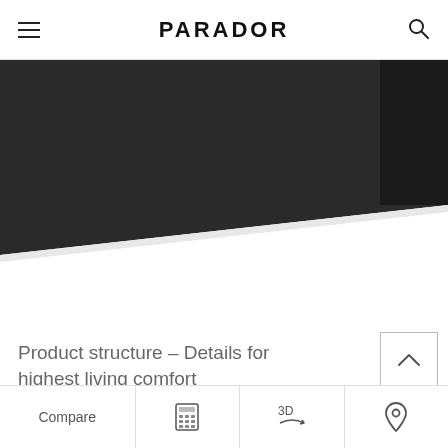PARADOR
[Figure (photo): Dark angled geometric photo showing a dark ceiling/wall meeting a white surface, creating a sharp diagonal contrast - product structure detail image]
Product structure – Details for highest living comfort
Compare | [calculator icon] | 3D [rotate icon] | [location pin icon]